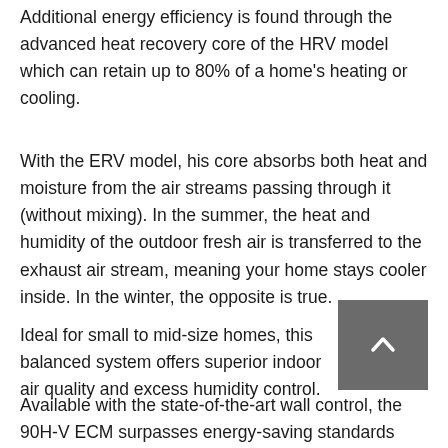Additional energy efficiency is found through the advanced heat recovery core of the HRV model which can retain up to 80% of a home's heating or cooling.
With the ERV model, his core absorbs both heat and moisture from the air streams passing through it (without mixing). In the summer, the heat and humidity of the outdoor fresh air is transferred to the exhaust air stream, meaning your home stays cooler inside. In the winter, the opposite is true.
Ideal for small to mid-size homes, this balanced system offers superior indoor air quality and excess humidity control.
Available with the state-of-the-art wall control, the 90H-V ECM surpasses energy-saving standards while